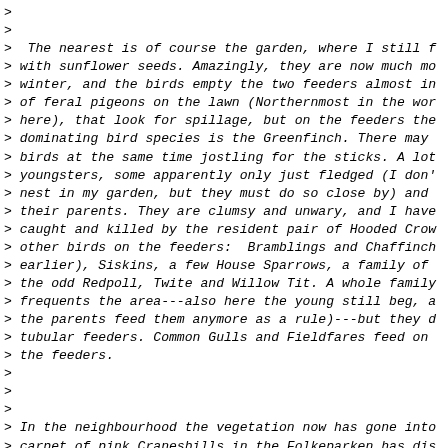>
>
>  The nearest is of course the garden, where I still f
> with sunflower seeds. Amazingly, they are now much mo
> winter, and the birds empty the two feeders almost in
> of feral pigeons on the lawn (Northernmost in the wor
> here), that look for spillage, but on the feeders the
> dominating bird species is the Greenfinch. There may
> birds at the same time jostling for the sticks. A lot
> youngsters, some apparently only just fledged (I don'
> nest in my garden, but they must do so close by) and
> their parents. They are clumsy and unwary, and I have
> caught and killed by the resident pair of Hooded Crow
> other birds on the feeders:  Bramblings and Chaffinch
> earlier), Siskins, a few House Sparrows, a family of
> the odd Redpoll, Twite and Willow Tit. A whole family
> frequents the area---also here the young still beg, a
> the parents feed them anymore as a rule)---but they d
> tubular feeders. Common Gulls and Fieldfares feed on
> the feeders.
>
>
>
> In the neighbourhood the vegetation now has gone into
> carpet of pink Cranesbills in the Folkeparken has dis
> replaced by the offwhite sweetsmelling flowers of Mea
>  and by the large violet patches of Rosebay (Fireweed
> conspicuous that one can se them from the air on flyi
> Along the roads the enormous 'Tromsø-palms' Heracleum
> sight---and Tromsø is full of them, campaigns to get
> have not helped anything as yet---and the late summ